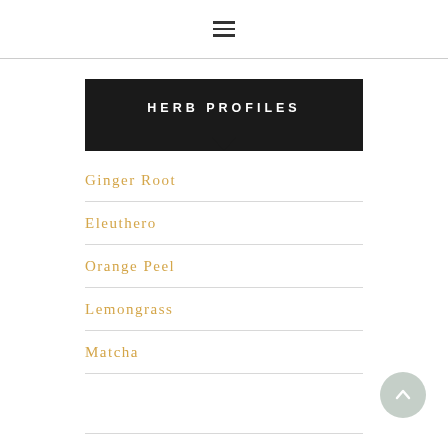≡
HERB PROFILES
Ginger Root
Eleuthero
Orange Peel
Lemongrass
Matcha